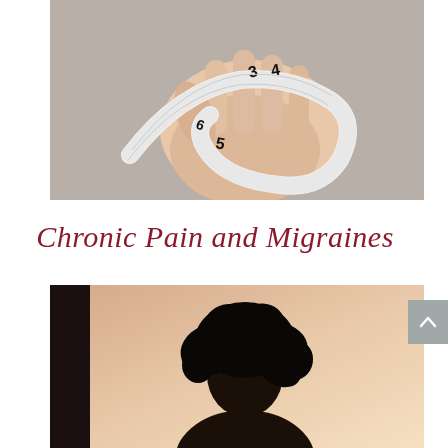[Figure (photo): Close-up photograph of a hand gripping a white measuring tape showing numbers 3, 4, 5, 6 on a grey background]
Chronic Pain and Migraines
[Figure (photo): Silhouette of a person with curly hair holding their head, backlit against a warm peach/sky background, suggesting a migraine or headache]